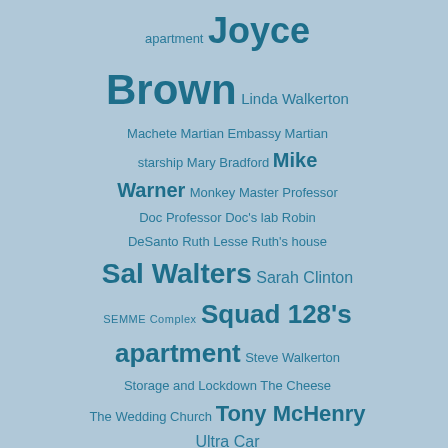Brown Linda Walkerton Machete Martian Embassy Martian starship Mary Bradford Mike Warner Monkey Master Professor Doc Professor Doc's lab Robin DeSanto Ruth Lesse Ruth's house Sal Walters Sarah Clinton SEMME Complex Squad 128's apartment Steve Walkerton Storage and Lockdown The Cheese The Wedding Church Tony McHenry Ultra Car
I think all the... Joyce definite...
Mitsuka... July 30, 20... There we... didn't fea...
C. July 30, 20... There wa... Joyce's e... hand, sho...
Rabid R... July 30, 20... And there... either: htt... up-Week-...
Jen Asio... July 31, 20... I kinda m... the most ... technicall...